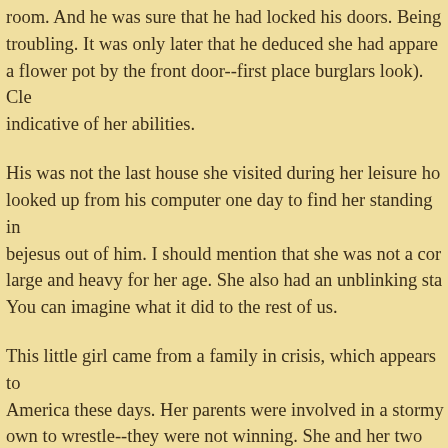room. And he was sure that he had locked his doors. Being troubling. It was only later that he deduced she had appare a flower pot by the front door--first place burglars look). Cle indicative of her abilities.
His was not the last house she visited during her leisure ho looked up from his computer one day to find her standing in bejesus out of him. I should mention that she was not a cor large and heavy for her age. She also had an unblinking sta You can imagine what it did to the rest of us.
This little girl came from a family in crisis, which appears to America these days. Her parents were involved in a stormy own to wrestle--they were not winning. She and her two bro neighborhood that had, during different stages of their deve unmarked police car. Yes...each of them. Parked car...than panel suffered only a little. These events were always timeg plainly in my sight at the curb. I'm convinced that this had s I found the ritual itself pretty funny.
O...